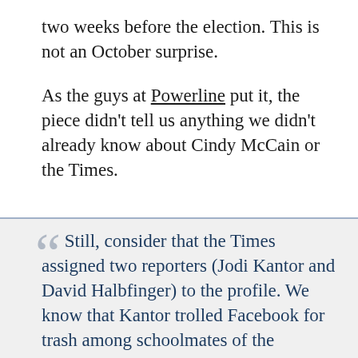two weeks before the election. This is not an October surprise.
As the guys at Powerline put it, the piece didn't tell us anything we didn't already know about Cindy McCain or the Times.
Still, consider that the Times assigned two reporters (Jodi Kantor and David Halbfinger) to the profile. We know that Kantor trolled Facebook for trash among schoolmates of the McCains' 16-year-old daughter. That must be some kind of a first for the Times,